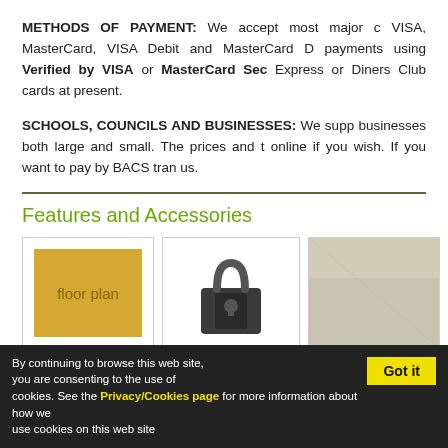METHODS OF PAYMENT: We accept most major credit/debit cards including VISA, MasterCard, VISA Debit and MasterCard Debit. We also process payments using Verified by VISA or MasterCard SecureCode. We do not accept American Express or Diners Club cards at present.
SCHOOLS, COUNCILS AND BUSINESSES: We supply schools and businesses both large and small. The prices and terms are the same as online if you wish. If you want to pay by BACS transfer, please contact us.
Features and Accessories
[Figure (illustration): Floor plan icon — yellow/gold square with text 'floor plan']
[Figure (photo): Photo of a dark padlock]
[Figure (photo): Partial photo of a light-colored material/surface]
By continuing to browse this web site, you are consenting to the use of cookies. See the Privacy/Cookies page for more information about how we use cookies on this web site.